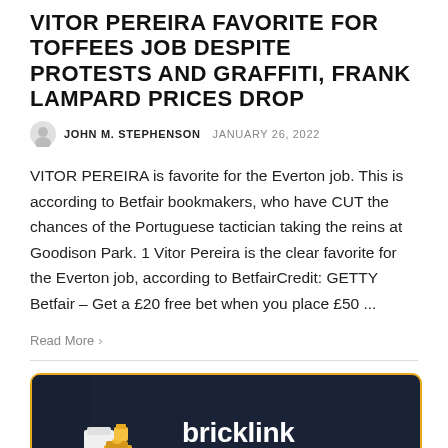VITOR PEREIRA FAVORITE FOR TOFFEES JOB DESPITE PROTESTS AND GRAFFITI, FRANK LAMPARD PRICES DROP
JOHN M. STEPHENSON  JANUARY 26, 2022
VITOR PEREIRA is favorite for the Everton job. This is according to Betfair bookmakers, who have CUT the chances of the Portuguese tactician taking the reins at Goodison Park. 1 Vitor Pereira is the clear favorite for the Everton job, according to BetfairCredit: GETTY Betfair – Get a £20 free bet when you place £50 ...
Read More >
[Figure (logo): BrickLink Designer Program advertisement banner with dark navy background, yellow border, lego brick illustration on left, and 'bricklink designer' text in white on right]